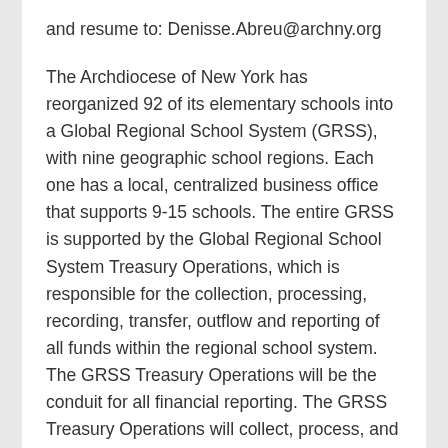and resume to: Denisse.Abreu@archny.org
The Archdiocese of New York has reorganized 92 of its elementary schools into a Global Regional School System (GRSS), with nine geographic school regions. Each one has a local, centralized business office that supports 9-15 schools. The entire GRSS is supported by the Global Regional School System Treasury Operations, which is responsible for the collection, processing, recording, transfer, outflow and reporting of all funds within the regional school system. The GRSS Treasury Operations will be the conduit for all financial reporting. The GRSS Treasury Operations will collect, process, and record data in order to provide a clear financial picture of each